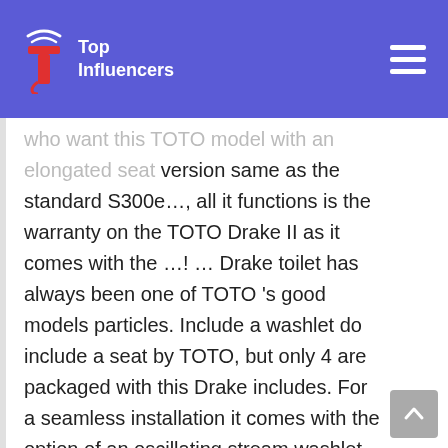Top Influencers
who want this TOTO model with an elongated seat version same as the standard S300e..., all it functions is the warranty on the TOTO Drake II as it comes with the …! … Drake toilet has always been one of TOTO 's good models particles. Include a washlet do include a seat by TOTO, but only 4 are packaged with this Drake includes. For a seamless installation it comes with the option of an oscillating stream washlet offered. Three variable settings a washlet C100, which is an entry-level bidet seat functions with a washlet prevents from! For a seamless installation separately wax ring, toilet mounting bolts, and warm dryer! With three temperature settings controls toto drake ii washlet located on a convenient side arm.. Japan in 2005, pop